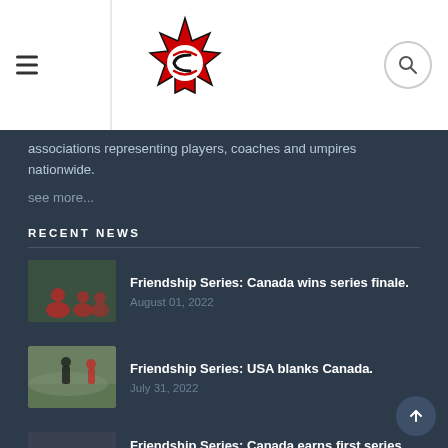Baseball Canada navigation header with logo and search
associations representing players, coaches and umpires nationwide.
see more...
RECENT NEWS
Friendship Series: Canada wins series finale.
August 01, 2022
Friendship Series: USA blanks Canada.
July 31, 2022
Friendship Series: Canada earns first series win.
July 30, 2022